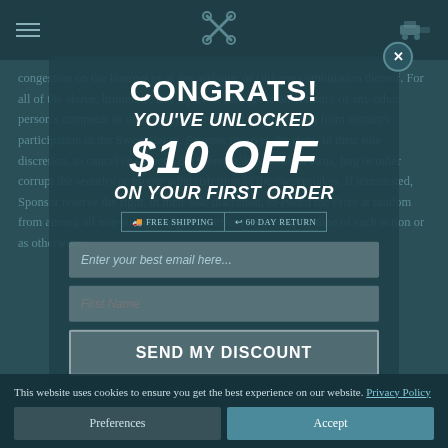Navigation header with hamburger menu, crossed-wrenches logo, golf cart icon
congestion on the Internet or at any website, or (iii) any combination thereof. For all of the above, limited to, any injury or damage to an entrant's or any other person's computer or other equipment related to or resulting from entrant's participation in the Sweepstakes. Sponsor reserves the right, in their sole discretion, to cancel or suspend the Sweepstakes should a virus, bug or other corrupt the security or proper administration of the Sweepstakes. If terminated, Sponsor reserve the right, in their sole discretion, to award the Prize at random from among all non-suspect, eligible entries received up to time of such action or as otherwise.
[Figure (infographic): Popup overlay modal with teal/dark background showing promotional discount offer. Contains: CONGRATS! in bold white uppercase, YOU'VE UNLOCKED in bold italic white uppercase, $10 OFF in large bold italic white uppercase, ON YOUR FIRST ORDER in bold italic white uppercase, FREE SHIPPING and 60 DAY RETURN badges, email input field, first name input field, SEND MY DISCOUNT submit button]
This website uses cookies to ensure you get the best experience on our website. Privacy Policy
Preferences
Accept